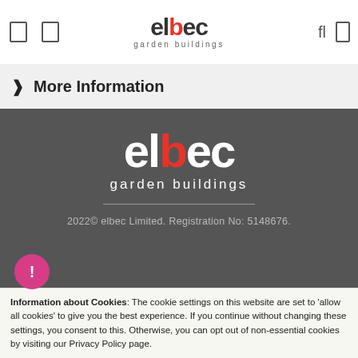elbec garden buildings
> More Information
[Figure (logo): elbec garden buildings white logo on dark grey background with horizontal divider line]
2022© elbec Limited. Registration No: 5148676.
[Figure (logo): Payment method logos: VISA, VISA Electron, Lloyds Bank, Mastercard, PayPal]
Information about Cookies: The cookie settings on this website are set to 'allow all cookies' to give you the best experience. If you continue without changing these settings, you consent to this. Otherwise, you can opt out of non-essential cookies by visiting our Privacy Policy page.